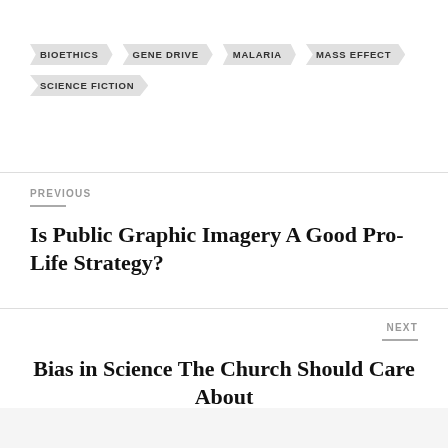BIOETHICS
GENE DRIVE
MALARIA
MASS EFFECT
SCIENCE FICTION
PREVIOUS
Is Public Graphic Imagery A Good Pro-Life Strategy?
NEXT
Bias in Science The Church Should Care About